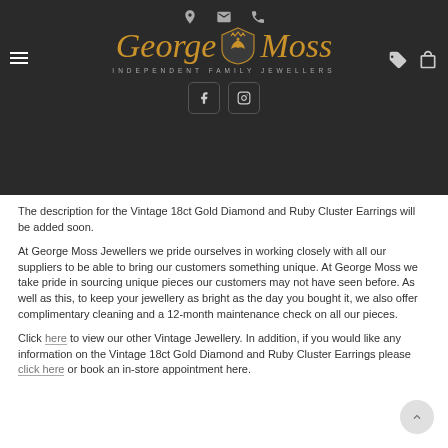George Moss Independent Family Jewellers
[Figure (logo): George Moss Independent Family Jewellers logo with crest, social media icons (Facebook, Instagram), and top navigation icons (location, email, phone)]
The description for the Vintage 18ct Gold Diamond and Ruby Cluster Earrings will be added soon.
At George Moss Jewellers we pride ourselves in working closely with all our suppliers to be able to bring our customers something unique. At George Moss we take pride in sourcing unique pieces our customers may not have seen before. As well as this, to keep your jewellery as bright as the day you bought it, we also offer complimentary cleaning and a 12-month maintenance check on all our pieces.
Click here to view our other Vintage Jewellery. In addition, if you would like any information on the Vintage 18ct Gold Diamond and Ruby Cluster Earrings please click here or book an in-store appointment here.